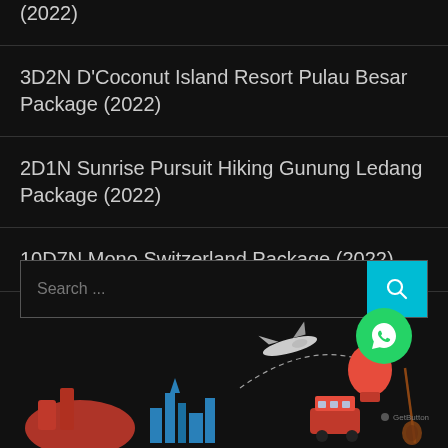(2022)
3D2N D'Coconut Island Resort Pulau Besar Package (2022)
2D1N Sunrise Pursuit Hiking Gunung Ledang Package (2022)
10D7N Mono Switzerland Package (2022)
[Figure (screenshot): Search bar with teal search button and WhatsApp GetButton widget]
[Figure (illustration): Travel-themed illustration with colorful landmarks, airplane, hot air balloon on dark background]